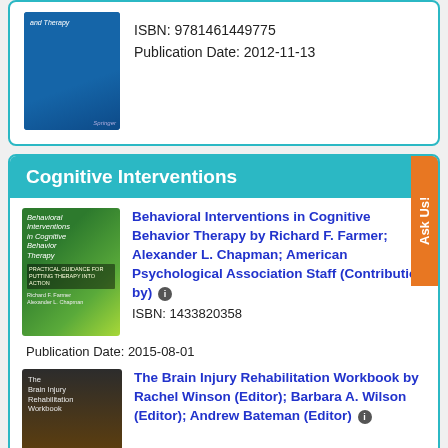ISBN: 9781461449775
Publication Date: 2012-11-13
Cognitive Interventions
Behavioral Interventions in Cognitive Behavior Therapy by Richard F. Farmer; Alexander L. Chapman; American Psychological Association Staff (Contribution by)
ISBN: 1433820358
Publication Date: 2015-08-01
The Brain Injury Rehabilitation Workbook by Rachel Winson (Editor); Barbara A. Wilson (Editor); Andrew Bateman (Editor)